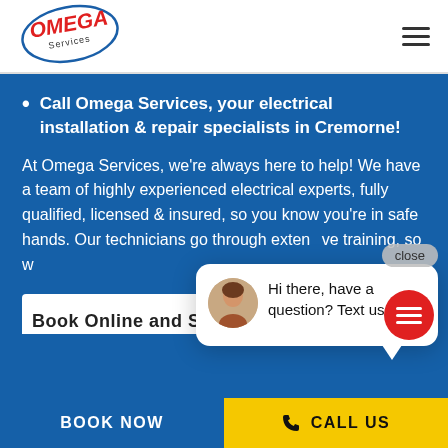[Figure (logo): Omega Services logo with red italic OMEGA text inside a blue oval, with 'Services' text below]
Call Omega Services, your electrical installation & repair specialists in Cremorne!
At Omega Services, we're always here to help! We have a team of highly experienced electrical experts, fully qualified, licensed & insured, so you know you're in safe hands. Our technicians go through extensive training, so w…
Hi there, have a question? Text us here.
Book Online and Save $50!*
BOOK NOW
CALL US